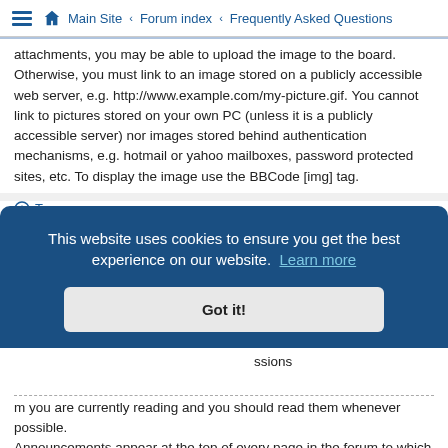Main Site · Forum index · Frequently Asked Questions
attachments, you may be able to upload the image to the board. Otherwise, you must link to an image stored on a publicly accessible web server, e.g. http://www.example.com/my-picture.gif. You cannot link to pictures stored on your own PC (unless it is a publicly accessible server) nor images stored behind authentication mechanisms, e.g. hotmail or yahoo mailboxes, password protected sites, etc. To display the image use the BBCode [img] tag.
Top
What are global announcements?
Global announcements contain important information and you should read them whenever possible. They will appear at the top of every forum and permissions
[Figure (screenshot): Cookie consent banner overlay: 'This website uses cookies to ensure you get the best experience on our website. Learn more' with a 'Got it!' button]
m you are currently reading and you should read them whenever possible. Announcements appear at the top of every page in the forum to which